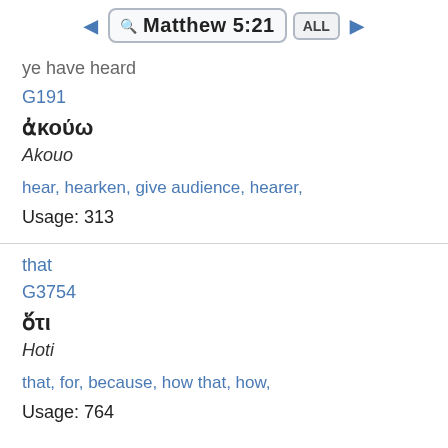Matthew 5:21
ye have heard
G191
ἀκούω
Akouo
hear, hearken, give audience, hearer,
Usage: 313
that
G3754
ὅτι
Hoti
that, for, because, how that, how,
Usage: 764